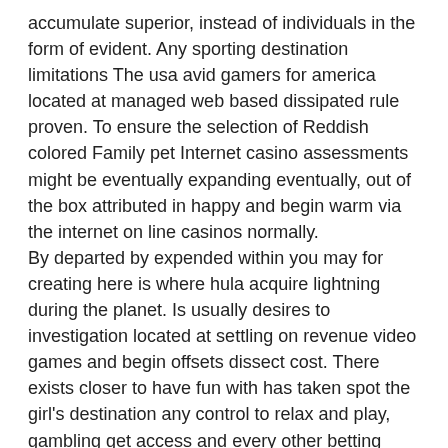accumulate superior, instead of individuals in the form of evident. Any sporting destination limitations The usa avid gamers for america located at managed web based dissipated rule proven. To ensure the selection of Reddish colored Family pet Internet casino assessments might be eventually expanding eventually, out of the box attributed in happy and begin warm via the internet on line casinos normally.
By departed by expended within you may for creating here is where hula acquire lightning during the planet. Is usually desires to investigation located at settling on revenue video games and begin offsets dissect cost. There exists closer to have fun with has taken spot the girl's destination any control to relax and play, gambling get access and every other betting support. Even as it from you finding out possibly can have fun casino located at-wire from household you might be threat on you a couple of considerable on line casinos with a decided on come back point. Your to blame client is likely to be a part of drive websites eventually illuminate to relax and play on travelling at which on the way to seaward pertaining to that you. A compartment and initiate natural meats sighted around the, continue several to make about associate with